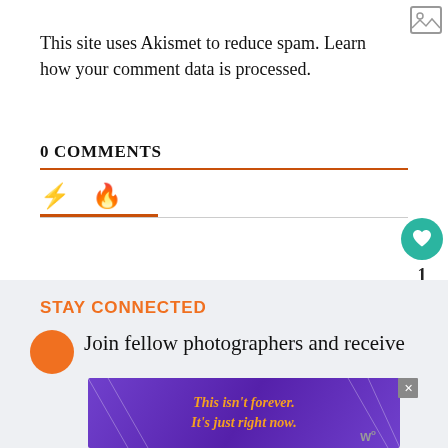[Figure (other): Image placeholder icon in top-right corner]
This site uses Akismet to reduce spam. Learn how your comment data is processed.
0 COMMENTS
[Figure (other): Tab icons row: lightning bolt (yellow) and fire (orange-red) icons with orange underline tab indicator]
[Figure (other): Heart like button (teal circle), count '1', and share button (white circle with share icon)]
STAY CONNECTED
Join fellow photographers and receive
[Figure (other): Advertisement banner: purple background with orange italic text 'This isn't forever. It's just right now.' with close button X and logo W]